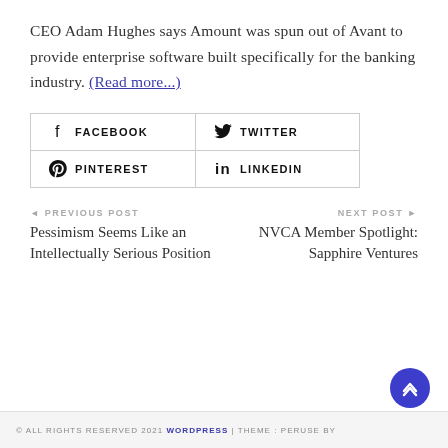CEO Adam Hughes says Amount was spun out of Avant to provide enterprise software built specifically for the banking industry. (Read more...)
[Figure (infographic): Social share buttons grid: Facebook, Twitter, Pinterest, LinkedIn]
◄ PREVIOUS POST
Pessimism Seems Like an Intellectually Serious Position
NEXT POST ►
NVCA Member Spotlight: Sapphire Ventures
© ALL RIGHTS RESERVED 2021 WORDPRESS | THEME : PERUSE BY